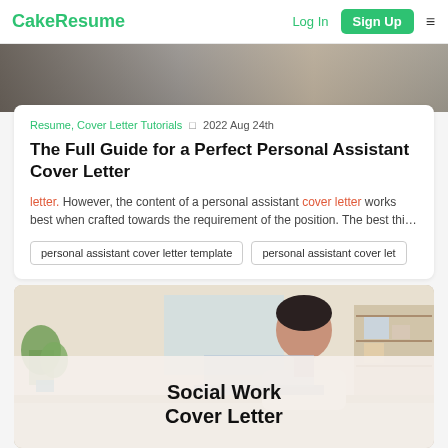CakeResume  Log In  Sign Up  ☰
[Figure (photo): Person working on a laptop at a desk — partial hero image]
Resume, Cover Letter Tutorials · 2022 Aug 24th
The Full Guide for a Perfect Personal Assistant Cover Letter
letter. However, the content of a personal assistant cover letter works best when crafted towards the requirement of the position. The best thi…
personal assistant cover letter template
personal assistant cover let…
[Figure (photo): Person with short dark hair working on a laptop in a home office setting — thumbnail for Social Work Cover Letter article]
Social Work Cover Letter